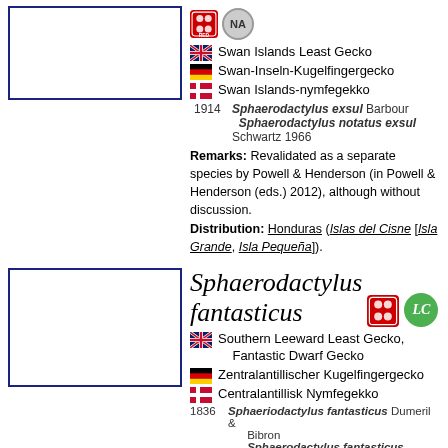[Figure (photo): Photo placeholder box for first species (top left)]
[Figure (logo): IUCN Red List badge and NA status badge]
Swan Islands Least Gecko (English)
Swan-Inseln-Kugelfingergecko (German)
Swan Islands-nymfegekko (Danish)
1914 Sphaerodactylus exsul Barbour
      Sphaerodactylus notatus exsul Schwartz 1966
Remarks: Revalidated as a separate species by Powell & Henderson (in Powell & Henderson (eds.) 2012), although without discussion. Distribution: Honduras (Islas del Cisne [Isla Grande, Isla Pequeña]).
[Figure (photo): Photo placeholder box for Sphaerodactylus fantasticus (bottom left)]
Sphaerodactylus fantasticus
[Figure (logo): IUCN Red List badge and LC status badge for Sphaerodactylus fantasticus]
Southern Leeward Least Gecko, Fantastic Dwarf Gecko (English)
Zentralantillischer Kugelfingergecko (German)
Centralantillisk Nymfegekko (Danish)
1836 Sphaeriodactylus fantasticus Dumeril & Bibron
      Sphaerodactylus fantasticus Boulenger 1885
1962 Sphaerodactylus fantasticus ligniservulus King
1965 Sphaerodactylus fantasticus anidrotus Thomas
1965 Sphaerodactylus fantasticus fuga Thomas
1965 Sphaerodactylus fantasticus hippomanes